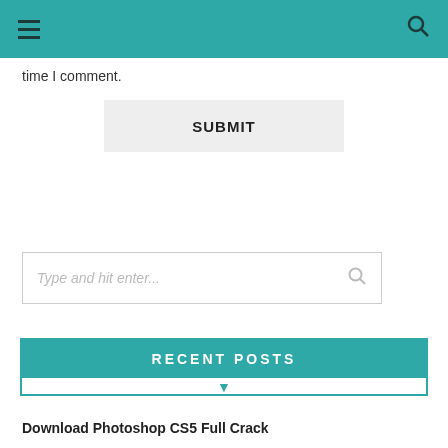Navigation bar with hamburger menu and search icon
time I comment.
[Figure (other): SUBMIT button, light gray background]
[Figure (other): Search input box with placeholder text 'Type and hit enter...' and search icon]
RECENT POSTS
Download Photoshop CS5 Full Crack